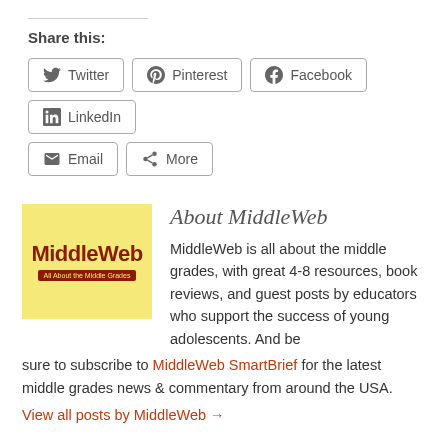Share this:
Twitter
Pinterest
Facebook
LinkedIn
Email
More
[Figure (logo): MiddleWeb logo on yellow background with tagline 'All About the Middle Grades']
About MiddleWeb
MiddleWeb is all about the middle grades, with great 4-8 resources, book reviews, and guest posts by educators who support the success of young adolescents. And be sure to subscribe to MiddleWeb SmartBrief for the latest middle grades news & commentary from around the USA.
View all posts by MiddleWeb →